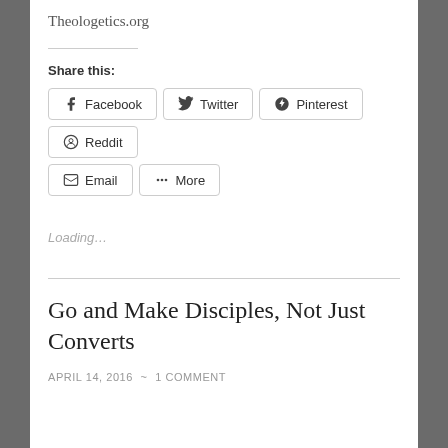Theologetics.org
Share this:
Facebook
Twitter
Pinterest
Reddit
Email
More
Loading…
Go and Make Disciples, Not Just Converts
APRIL 14, 2016 ~ 1 COMMENT